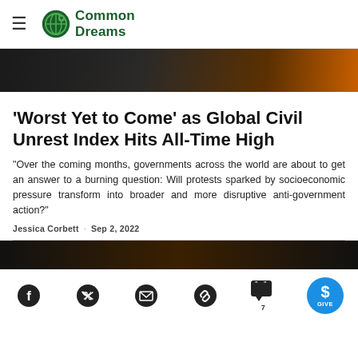Common Dreams
[Figure (photo): Top portion of a protest or fire scene, dark image with orange flames visible in upper right]
'Worst Yet to Come' as Global Civil Unrest Index Hits All-Time High
"Over the coming months, governments across the world are about to get an answer to a burning question: Will protests sparked by socioeconomic pressure transform into broader and more disruptive anti-government action?"
Jessica Corbett · Sep 2, 2022
[Figure (photo): Bottom portion of a protest/fire scene image, dark tones]
[Figure (infographic): Social sharing bar with Facebook, Twitter, email, link, comment (7), and GIVE button icons]